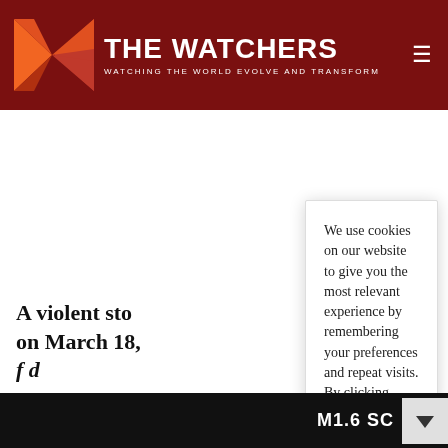THE WATCHERS — WATCHING THE WORLD EVOLVE AND TRANSFORM
We use cookies on our website to give you the most relevant experience by remembering your preferences and repeat visits. By clicking “Accept”, you consent to the use of ALL the cookies.
Do not sell my personal information.
Cookie settings | Accept
A violent sto on March 18, f d...
M1.6 SC